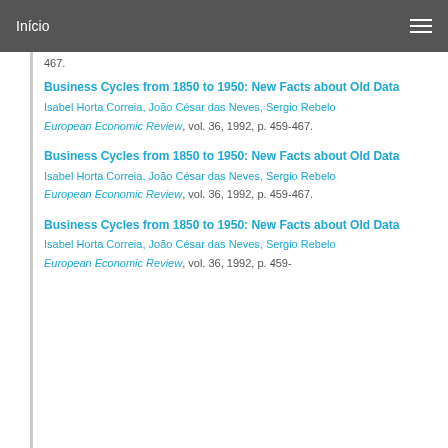Início
467.
Business Cycles from 1850 to 1950: New Facts about Old Data
Isabel Horta Correia, João César das Neves, Sergio Rebelo
European Economic Review, vol. 36, 1992, p. 459-467.
Business Cycles from 1850 to 1950: New Facts about Old Data
Isabel Horta Correia, João César das Neves, Sergio Rebelo
European Economic Review, vol. 36, 1992, p. 459-467.
Business Cycles from 1850 to 1950: New Facts about Old Data
Isabel Horta Correia, João César das Neves, Sergio Rebelo
European Economic Review, vol. 36, 1992, p. 459-